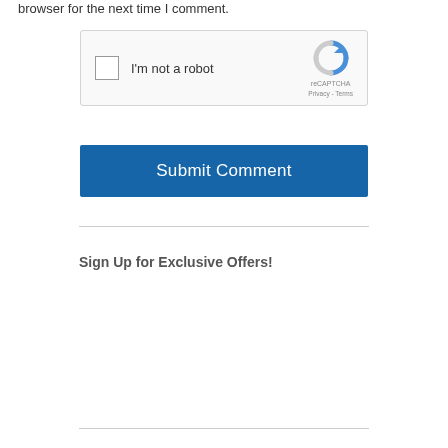browser for the next time I comment.
[Figure (screenshot): reCAPTCHA widget with checkbox labeled 'I'm not a robot' and the reCAPTCHA logo with Privacy and Terms links]
[Figure (screenshot): Blue 'Submit Comment' button]
Sign Up for Exclusive Offers!
[Figure (screenshot): Email address input field with placeholder 'Your Email Address' and red 'Subscribe Me!' button]